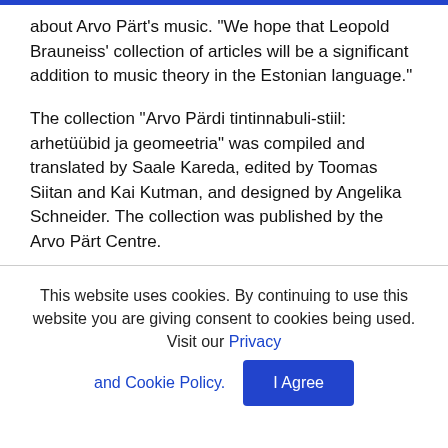about Arvo Pärt's music. “We hope that Leopold Brauneiss' collection of articles will be a significant addition to music theory in the Estonian language.”
The collection “Arvo Pärdi tintinnabuli-stiil: arhetüübid ja geomeetria” was compiled and translated by Saale Kareda, edited by Toomas Siitan and Kai Kutman, and designed by Angelika Schneider. The collection was published by the Arvo Pärt Centre.
Arvo Pärt Centre
www.arvopart.ee
This website uses cookies. By continuing to use this website you are giving consent to cookies being used. Visit our Privacy and Cookie Policy.